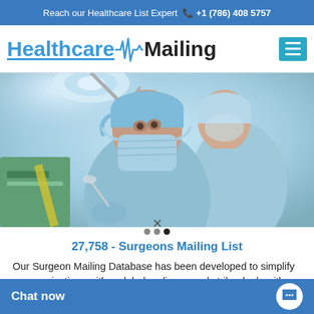Reach our Healthcare List Expert ☎ +1 (786) 408 5757
[Figure (logo): Healthcare Mailing logo with ECG pulse line between the two words]
[Figure (photo): Two surgeons in blue scrubs, surgical masks, and hair caps performing a medical procedure in an operating room]
27,758 - Surgeons Mailing List
Our Surgeon Mailing Database has been developed to simplify communications with a global audience and strike deals with decisions makers at the hospitals, clinics, medi...